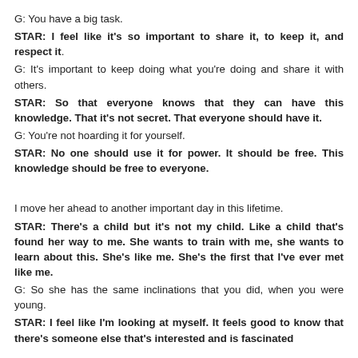G: You have a big task.
STAR: I feel like it's so important to share it, to keep it, and respect it.
G: It's important to keep doing what you're doing and share it with others.
STAR: So that everyone knows that they can have this knowledge. That it's not secret. That everyone should have it.
G: You're not hoarding it for yourself.
STAR: No one should use it for power. It should be free. This knowledge should be free to everyone.
I move her ahead to another important day in this lifetime.
STAR: There's a child but it's not my child. Like a child that's found her way to me. She wants to train with me, she wants to learn about this. She's like me. She's the first that I've ever met like me.
G: So she has the same inclinations that you did, when you were young.
STAR: I feel like I'm looking at myself. It feels good to know that there's someone else that's interested and is fascinated